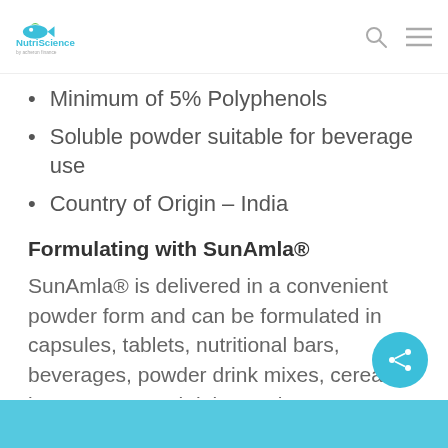NutriScience
Minimum of 5% Polyphenols
Soluble powder suitable for beverage use
Country of Origin – India
Formulating with SunAmla®
SunAmla® is delivered in a convenient powder form and can be formulated in capsules, tablets, nutritional bars, beverages, powder drink mixes, cereals, jams, yogurt and dairy products.